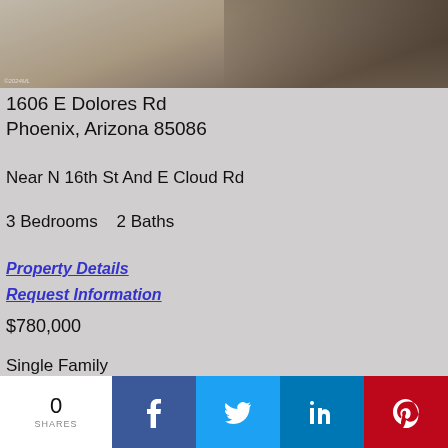[Figure (photo): Exterior/landscape photo of a desert property showing gravel ground and tree shadows]
1606 E Dolores Rd
Phoenix, Arizona 85086
Near N 16th St And E Cloud Rd
3 Bedrooms   2 Baths
Property Details
Request Information
$780,000
Single Family
0
SHARES